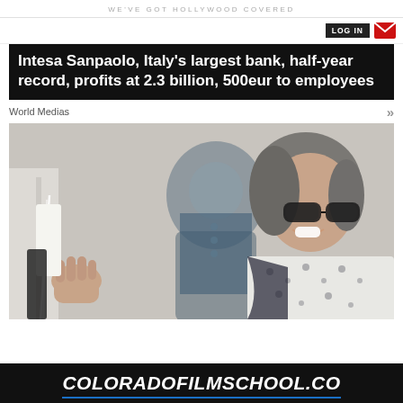WE'VE GOT HOLLYWOOD COVERED
Intesa Sanpaolo, Italy's largest bank, half-year record, profits at 2.3 billion, 500eur to employees
World Medias
[Figure (photo): Elderly woman with grey hair and dark glasses smiling while touching a white surface, with an older man in a blue shirt visible in the background, blurred.]
COLORADOFILMSCHOOL.CO